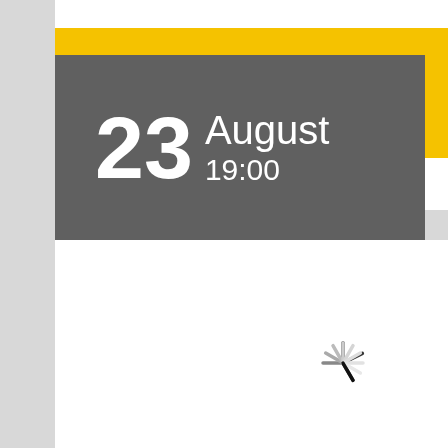LEAVE A REQUEST
23 August 19:00
[Figure (other): Loading spinner icon — circular spinner with dark segments at top fading to light gray around the circle]